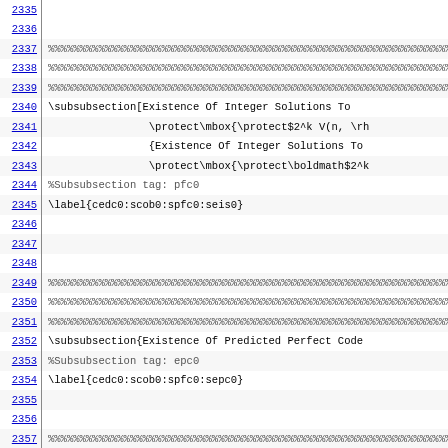2335  (empty)
2336  (empty)
2337  %%%%%%%%%%%%%%%%%%%%%%%%%%%%%%%%%%%%%%%%%%%%%%%%%%%%...
2338  %%%%%%%%%%%%%%%%%%%%%%%%%%%%%%%%%%%%%%%%%%%%%%%%%%%%...
2339  %%%%%%%%%%%%%%%%%%%%%%%%%%%%%%%%%%%%%%%%%%%%%%%%%%%%...
2340  \subsubsection[Existence Of Integer Solutions To
2341                  \protect\mbox{\protect$2^k V(n, \rh
2342                  {Existence Of Integer Solutions To
2343                  \protect\mbox{\protect\boldmath$2^k
2344  %Subsubsection tag: pfc0
2345  \label{cedc0:scob0:spfc0:seis0}
2346  (empty)
2347  (empty)
2348  (empty)
2349  %%%%%%%%%%%%%%%%%%%%%%%%%%%%%%%%%%%%%%%%%%%%%%%%%%%%...
2350  %%%%%%%%%%%%%%%%%%%%%%%%%%%%%%%%%%%%%%%%%%%%%%%%%%%%...
2351  %%%%%%%%%%%%%%%%%%%%%%%%%%%%%%%%%%%%%%%%%%%%%%%%%%%%...
2352  \subsubsection{Existence Of Predicted Perfect Code
2353  %Subsubsection tag: epc0
2354  \label{cedc0:scob0:spfc0:sepc0}
2355  (empty)
2356  (empty)
2357  %%%%...